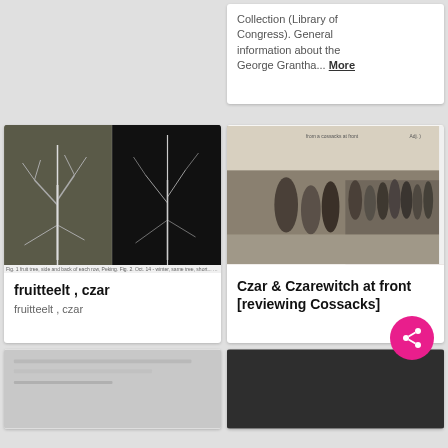Collection (Library of Congress). General information about the George Grantha... More
[Figure (photo): Two black and white photos of bare trees (fruitteelt / czar)]
fruitteelt , czar
fruitteelt , czar
[Figure (photo): Black and white historical photo of Czar and Czarewitch reviewing Cossacks at front]
Czar & Czarewitch at front [reviewing Cossacks]
[Figure (photo): Partial blurred image bottom left]
[Figure (photo): Partial dark image bottom right]